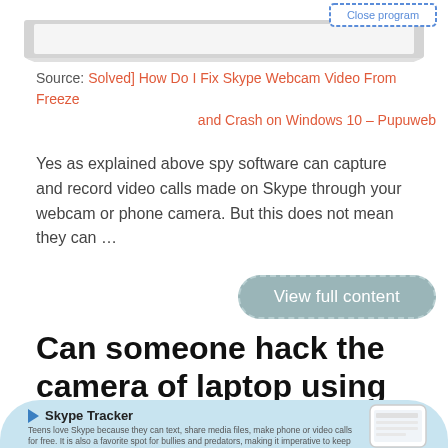[Figure (screenshot): Partial laptop with 'Close program' dashed-border button visible at top right]
Source: Solved] How Do I Fix Skype Webcam Video From Freeze and Crash on Windows 10 – Pupuweb
Yes as explained above spy software can capture and record video calls made on Skype through your webcam or phone camera. But this does not mean they can …
[Figure (screenshot): View full content button with dashed border and gray-teal background]
Can someone hack the camera of laptop using Skype? – Qu
[Figure (infographic): Skype Tracker infographic with light blue background showing tracker icon, title 'Skype Tracker', descriptive text about teens using Skype, and a phone mockup on the right]